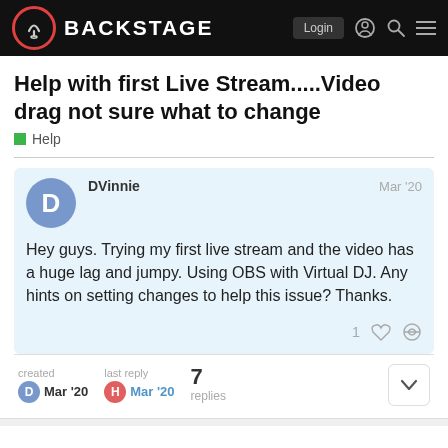BACKSTAGE
Help with first Live Stream.....Video drag not sure what to change
Help
DVinnie  Mar '20
Hey guys. Trying my first live stream and the video has a huge lag and jumpy. Using OBS with Virtual DJ. Any hints on setting changes to help this issue? Thanks.
created Mar '20   last reply Mar '20   7 replies